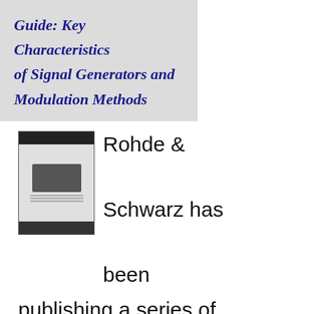Guide: Key Characteristics of Signal Generators and Modulation Methods
[Figure (other): Thumbnail image of the guide booklet showing charts and tables related to signal generators]
Rohde & Schwarz has been publishing a series of good old-fashioned printed (aka hard